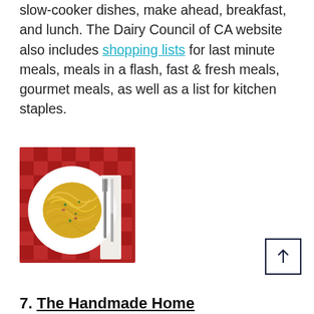slow-cooker dishes, make ahead, breakfast, and lunch. The Dairy Council of CA website also includes shopping lists for last minute meals, meals in a flash, fast & fresh meals, gourmet meals, as well as a list for kitchen staples.
[Figure (photo): A bowl of spaghetti carbonara on a white plate, placed on a red checkered tablecloth with a fork and knife beside it.]
7. The Handmade Home